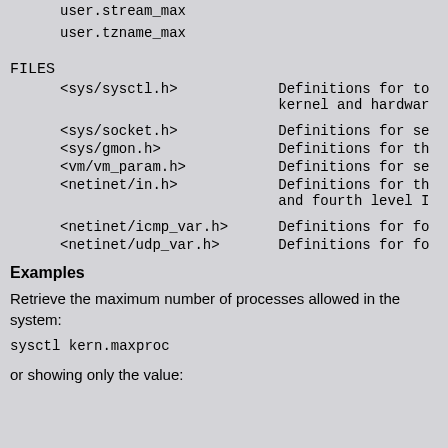user.stream_max
    user.tzname_max
FILES
| File | Description |
| --- | --- |
| <sys/sysctl.h> | Definitions for to kernel and hardwar |
| <sys/socket.h> | Definitions for se |
| <sys/gmon.h> | Definitions for th |
| <vm/vm_param.h> | Definitions for se |
| <netinet/in.h> | Definitions for th and fourth level I |
| <netinet/icmp_var.h> | Definitions for fo |
| <netinet/udp_var.h> | Definitions for fo |
Examples
Retrieve the maximum number of processes allowed in the system:
or showing only the value: